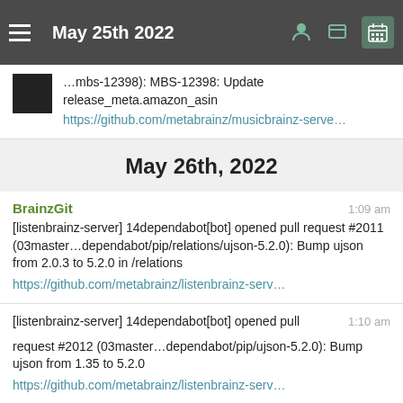May 25th 2022
(...mbs-12398): MBS-12398: Update release_meta.amazon_asin https://github.com/metabrainz/musicbrainz-serve...
May 26th, 2022
BrainzGit  1:09 am
[listenbrainz-server] 14dependabot[bot] opened pull request #2011 (03master...dependabot/pip/relations/ujson-5.2.0): Bump ujson from 2.0.3 to 5.2.0 in /relations
https://github.com/metabrainz/listenbrainz-serv...
[listenbrainz-server] 14dependabot[bot] opened pull request #2012 (03master...dependabot/pip/ujson-5.2.0): Bump ujson from 1.35 to 5.2.0
https://github.com/metabrainz/listenbrainz-serv...